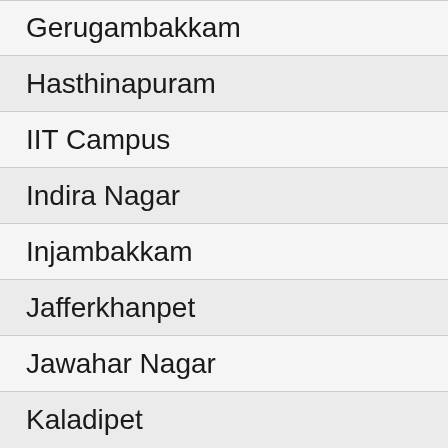Gerugambakkam
Hasthinapuram
IIT Campus
Indira Nagar
Injambakkam
Jafferkhanpet
Jawahar Nagar
Kaladipet